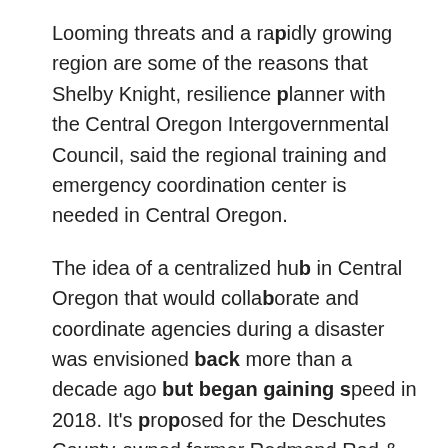Looming threats and a rapidly growing region are some of the reasons that Shelby Knight, resilience planner with the Central Oregon Intergovernmental Council, said the regional training and emergency coordination center is needed in Central Oregon.
The idea of a centralized hub in Central Oregon that would collaborate and coordinate agencies during a disaster was envisioned back more than a decade ago but began gaining speed in 2018. It's proposed for the Deschutes County-owned former Redmond Rod & Gun Club shooting range property near Redmond Airport.